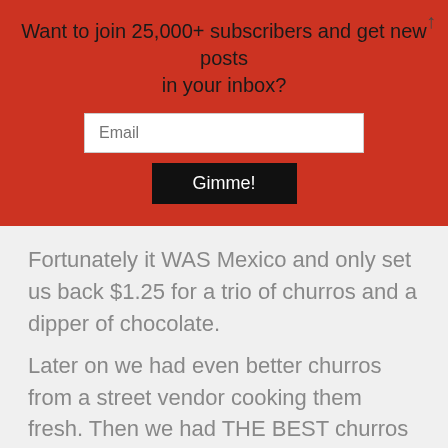Want to join 25,000+ subscribers and get new posts in your inbox?
Fortunately it WAS Mexico and only set us back $1.25 for a trio of churros and a dipper of chocolate.
Later on we had even better churros from a street vendor cooking them fresh. Then we had THE BEST churros from a different street vendor that brought them from somewhere else and had them for sale at a dinky little